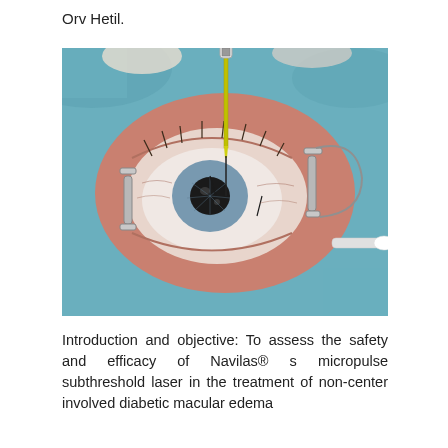Orv Hetil.
[Figure (photo): Close-up clinical photograph of a human eye undergoing an ophthalmic injection procedure. The eyelid is held open with a metal speculum. A syringe with a needle is being inserted into the eye. A cotton swab is visible at the right side.]
Introduction and objective: To assess the safety and efficacy of Navilas® s micropulse subthreshold laser in the treatment of non-center involved diabetic macular edema